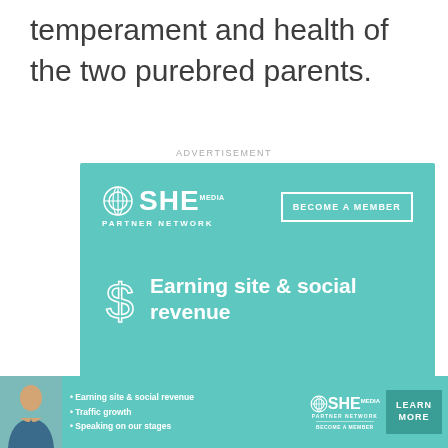temperament and health of the two purebred parents.
ADVERTISEMENT
[Figure (illustration): SHE Media Partner Network advertisement with teal background. Shows SHE Media logo, 'BECOME A MEMBER' button, dollar sign icon, text 'Earning site & social revenue', and a 'LEARN MORE' button.]
[Figure (illustration): SHE Media Partner Network bottom banner ad with teal background. Shows a woman's photo, bullet points: 'Earning site & social revenue', 'Traffic growth', 'Speaking on our stages', SHE Media logo, and 'LEARN MORE' button.]